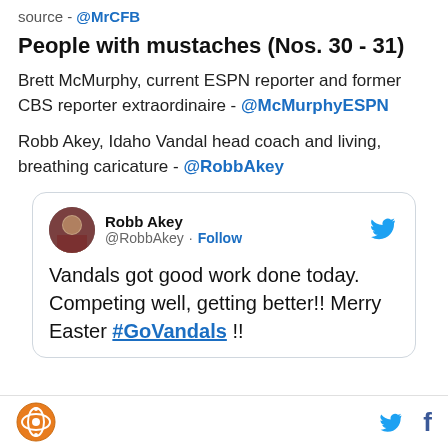source - @MrCFB
People with mustaches (Nos. 30 - 31)
Brett McMurphy, current ESPN reporter and former CBS reporter extraordinaire - @McMurphyESPN
Robb Akey, Idaho Vandal head coach and living, breathing caricature - @RobbAkey
[Figure (screenshot): Embedded tweet from @RobbAkey (Robb Akey) with Follow button and Twitter bird icon. Tweet text: Vandals got good work done today. Competing well, getting better!! Merry Easter #GoVandals !!]
Logo icon, Twitter icon, Facebook icon